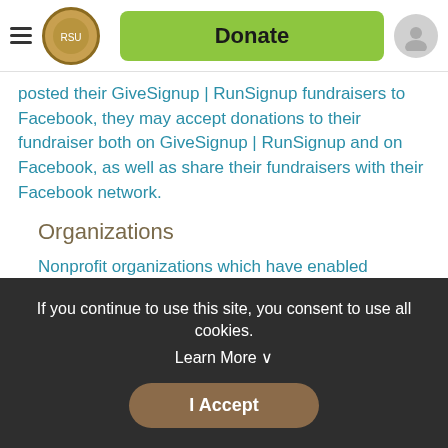[Figure (screenshot): Navigation bar with hamburger menu, circular logo, green Donate button, and user profile icon]
posted their GiveSignup | RunSignup fundraisers to Facebook, they may accept donations to their fundraiser both on GiveSignup | RunSignup and on Facebook, as well as share their fundraisers with their Facebook network.
Organizations
Nonprofit organizations which have enabled Facebook payments within Facebook may provide their Facebook page ID to GiveSignup | RunSignup to enable the Facebook Fundraisers integration. Once enabled, Facebook users may sync their GiveSignup | RunSignup fundraisers with Facebook Fundraisers, allowing users to raise funds on both GiveSignup | RunSignup and Facebook with a single
If you continue to use this site, you consent to use all cookies. Learn More ˅
I Accept